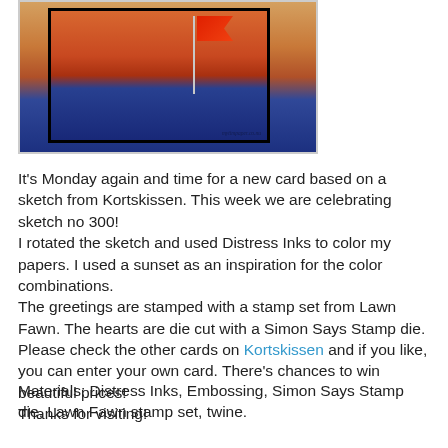[Figure (photo): A handmade card with a sunset scene featuring orange/red sky and dark blue background, with a flag on a pole, displayed in a black frame with white mat]
It's Monday again and time for a new card based on a sketch from Kortskissen. This week we are celebrating sketch no 300!
I rotated the sketch and used Distress Inks to color my papers. I used a sunset as an inspiration for the color combinations.
The greetings are stamped with a stamp set from Lawn Fawn. The hearts are die cut with a Simon Says Stamp die. Please check the other cards on Kortskissen and if you like, you can enter your own card. There's chances to win beautiful prices!
Thanks for visiting!
Materials: Distress Inks, Embossing, Simon Says Stamp die, Lawn Fawn stamp set, twine.